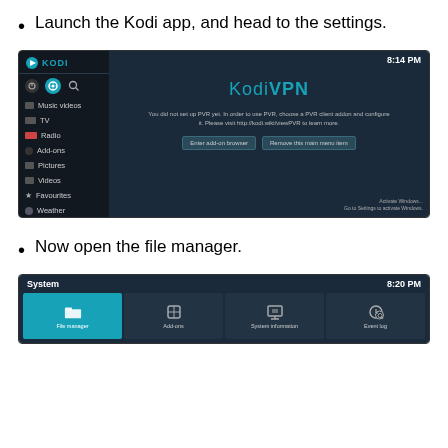Launch the Kodi app, and head to the settings.
[Figure (screenshot): Kodi app main screen showing the KodiVPN interface with sidebar menu (Music videos, TV, Radio, Add-ons, Pictures, Videos, Favourites, Weather) and main content area showing KodiVPN text, PVR setup message, and buttons 'Enter add-on browser' and 'Remove this main menu item'. Time shows 8:14 PM.]
Now open the file manager.
[Figure (screenshot): Kodi System screen showing 8:20 PM with tile grid including File manager (highlighted in teal), Add-ons, System information, and Event log tiles.]